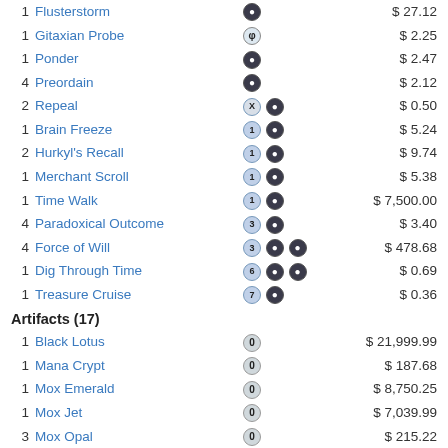| Qty | Name | Mana | Price |
| --- | --- | --- | --- |
| 1 | Flusterstorm | [U] | $ 27.12 |
| 1 | Gitaxian Probe | [phi] | $ 2.25 |
| 1 | Ponder | [U] | $ 2.47 |
| 4 | Preordain | [U] | $ 2.12 |
| 2 | Repeal | [X][U] | $ 0.50 |
| 1 | Brain Freeze | [1][U] | $ 5.24 |
| 2 | Hurkyl's Recall | [1][U] | $ 9.74 |
| 1 | Merchant Scroll | [1][U] | $ 5.38 |
| 1 | Time Walk | [1][U] | $ 7,500.00 |
| 4 | Paradoxical Outcome | [3][U] | $ 3.40 |
| 4 | Force of Will | [3][U][U] | $ 478.68 |
| 1 | Dig Through Time | [6][U][U] | $ 0.69 |
| 1 | Treasure Cruise | [7][U] | $ 0.36 |
Artifacts (17)
| Qty | Name | Mana | Price |
| --- | --- | --- | --- |
| 1 | Black Lotus | [0] | $ 21,999.99 |
| 1 | Mana Crypt | [0] | $ 187.68 |
| 1 | Mox Emerald | [0] | $ 8,750.25 |
| 1 | Mox Jet | [0] | $ 7,039.99 |
| 3 | Mox Opal | [0] | $ 215.22 |
| 1 | Mox Pearl | [0] | $ 5,279.99 |
| 1 | Mox Ruby | [0] | $ 9,000.00 |